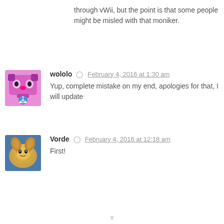through vWii, but the point is that some people might be misled with that moniker.
wololo  February 4, 2016 at 1:30 am
Yup, complete mistake on my end, apologies for that, I will update
Vorde  February 4, 2016 at 12:18 am
First!
x